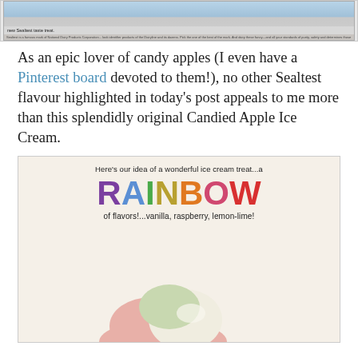[Figure (photo): Top portion of a vintage Sealtest ice cream advertisement clipped image, showing blue background with product and small caption text at bottom]
As an epic lover of candy apples (I even have a Pinterest board devoted to them!), no other Sealtest flavour highlighted in today's post appeals to me more than this splendidly original Candied Apple Ice Cream.
[Figure (photo): Vintage Sealtest advertisement on cream background showing colorful RAINBOW text in purple, blue, green, gold, orange, pink, red letters with tagline 'Here's our idea of a wonderful ice cream treat...a RAINBOW of flavors!...vanilla, raspberry, lemon-lime!' and ice cream scoop photo at bottom]